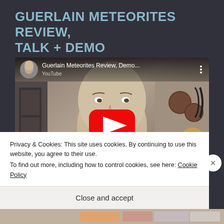GUERLAIN METEORITES REVIEW, TALK + DEMO
[Figure (screenshot): YouTube video thumbnail showing a person holding a cup of Guerlain Meteorites powder balls, with the video title 'Guerlain Meteorites Review, Demo...' and a red YouTube play button overlay.]
Privacy & Cookies: This site uses cookies. By continuing to use this website, you agree to their use.
To find out more, including how to control cookies, see here: Cookie Policy
Close and accept